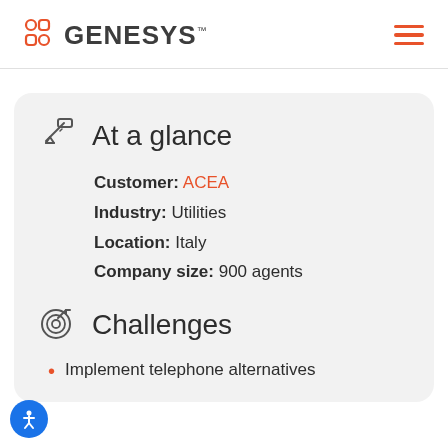GENESYS
At a glance
Customer: ACEA
Industry: Utilities
Location: Italy
Company size: 900 agents
Challenges
Implement telephone alternatives